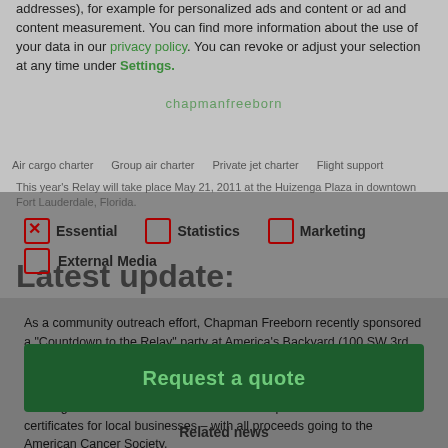addresses), for example for personalized ads and content or ad and content measurement. You can find more information about the use of your data in our privacy policy. You can revoke or adjust your selection at any time under Settings.
Air cargo charter  Group air charter  Private jet charter  Flight support
This year's Relay will take place May 21, 2011 at the Huizenga Plaza in downtown Fort Lauderdale, Florida.
Essential  Statistics  Marketing  External Media
Latest update:
As a community outreach effort, Chapman Freeborn recently sponsored a "Countdown to the Relay" party at America's Backyard (100 SW 3rd Avenue, Fort Lauderdale, FL 33312).
The team was joined by friends, clients, and the local community for an evening of fun. A silent auction was held for Sports Memorabilia and Gift certificates for local businesses – with all proceeds going to the American Cancer Society.
Thanks to everyone's support and efforts, Chapman Freeborn's US team raised nearly $1300 at the event.
Request a quote
Related news